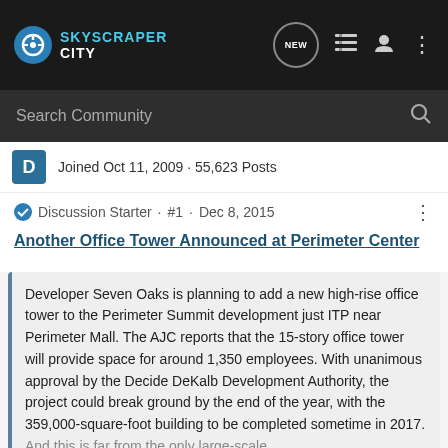SkyScraper City
Search Community
Joined Oct 11, 2009 · 55,623 Posts
Discussion Starter · #1 · Dec 8, 2015
Another Office Tower Announced at Perimeter Center
Developer Seven Oaks is planning to add a new high-rise office tower to the Perimeter Summit development just ITP near Perimeter Mall. The AJC reports that the 15-story office tower will provide space for around 1,350 employees. With unanimous approval by the Decide DeKalb Development Authority, the project could break ground by the end of the year, with the 359,000-square-foot building to be completed sometime in 2017. And this is far from the only large-scale
Click to expand...